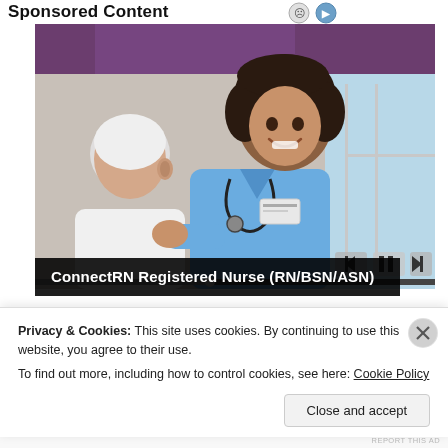Sponsored Content
[Figure (photo): A smiling nurse in blue scrubs with a stethoscope talking to an elderly patient in a medical/home care setting. Video player controls visible at bottom right with a progress bar.]
ConnectRN Registered Nurse (RN/BSN/ASN)
Privacy & Cookies: This site uses cookies. By continuing to use this website, you agree to their use.
To find out more, including how to control cookies, see here: Cookie Policy
Close and accept